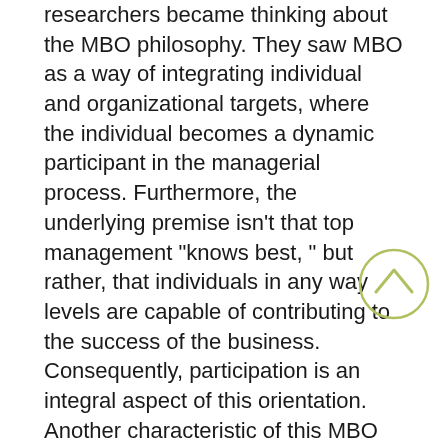researchers became thinking about the MBO philosophy. They saw MBO as a way of integrating individual and organizational targets, where the individual becomes a dynamic participant in the managerial process. Furthermore, the underlying premise isn't that top management "knows best, " but rather, that individuals in any way levels are capable of contributing to the success of the business. Consequently, participation is an integral aspect of this orientation. Another characteristic of this MBO approach is the matter not limited to organizational goals, but also personal development goals. It recognizes that learning does not stop at the time a diploma or degree is acquired. Learning is a continuing process. Therefore, developmental and progress objectives are now an important part of the MBO process. Another facet that should be mentioned here is that folks in organizations are better educated than ever before. Consequently, they do not want to accept requests blindly; they demand a part of the action; they want to be involved; they need a say; they want their job and their